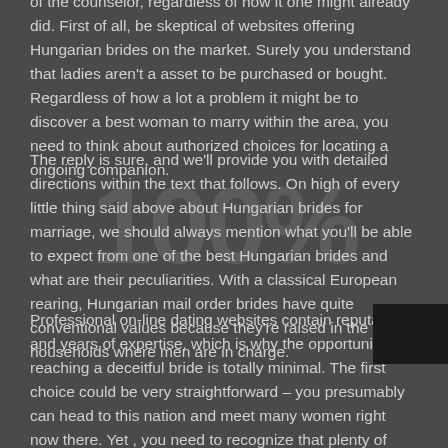of the counselor, regardless of how it one might already did. First of all, be skeptical of websites offering Hungarian brides on the market. Surely you understand that ladies aren't a asset to be purchased or bought. Regardless of how a lot a problem it might be to discover a best woman to marry within the area, you need to think about authorized choices for locating a ongoing companion.
The reply is sure, and we'll provide you with detailed directions within the text that follows. On high of every little thing said above about Hungarian brides for marriage, we should always mention what you'll be able to expect from one of the best Hungarian brides and what are their peculiarities. With a classical European rearing, Hungarian mail order brides have quite conventional values because they're raised in the households where men are in charge.
Professional on-line dating websites contain reputations and years of expertise, which is why the opportunity of reaching a deceitful bride is totally minimal. The first choice could be very straightforward – you presumably can head to this nation and meet many women right now there. Yet , you need to recognize that plenty of women who could more than likely date a overseas